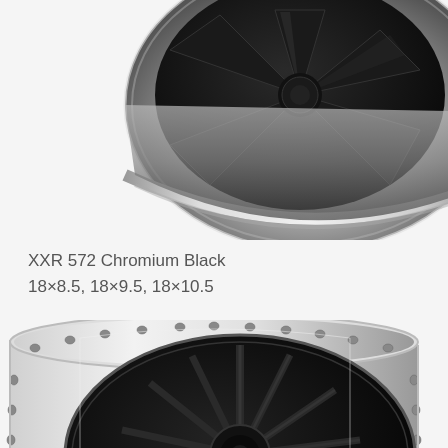[Figure (photo): XXR 572 wheel in Chromium Black finish shown from an angled side view – black spoked center with chrome lip, partial view cropped at top of page]
XXR 572 Chromium Black
18×8.5, 18×9.5, 18×10.5
[Figure (photo): XXR 572 wheel in Chromium Black finish shown from front/side angle – multi-spoke black center with polished chrome deep-dish lip and visible bolt rivets around the barrel]